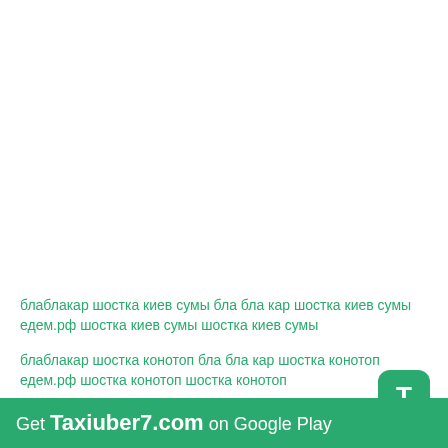блаблакар шостка киев сумы бла бла кар шостка киев сумы едем.рф шостка киев сумы шостка киев сумы
блаблакар шостка конотоп бла бла кар шостка конотоп едем.рф шостка конотоп шостка конотоп
блаблакар шадринск бла бла кар шадринск едем.рф шадринск шадринск
Get Taxiuber7.com on Google Play